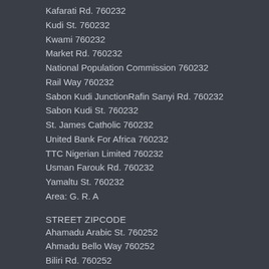Kafarati Rd. 760232
Kudi St. 760232
Kwami 760232
Market Rd. 760232
National Population Commission 760232
Rail Way 760232
Sabon Kudi JunctionRafin Sanyi Rd. 760232
Sabon Kudi St. 760232
St. James Catholic 760232
United Bank For Africa 760232
TTC Nigerian Limited 760232
Usman Farouk Rd. 760232
Yamaltu St. 760232
Area: G. R. A
STREET ZIPCODE
Ahamadu Arabic St. 760252
Ahmadu Bello Way 760252
Biliri Rd. 760252
Buhari Estate 760252
Buzu St. 760252
Darazo Rd Rd. 760252